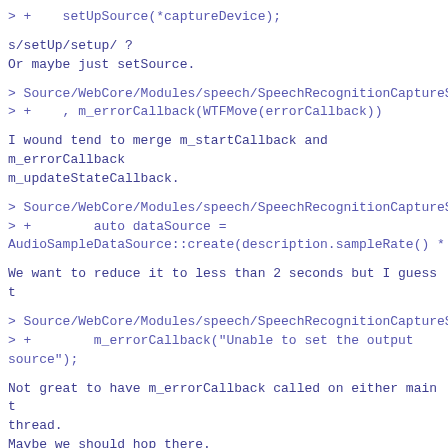> +    setUpSource(*captureDevice);
s/setUp/setup/ ?
Or maybe just setSource.
> Source/WebCore/Modules/speech/SpeechRecognitionCaptureS
> +    , m_errorCallback(WTFMove(errorCallback))
I wound tend to merge m_startCallback and m_errorCallback
m_updateStateCallback.
> Source/WebCore/Modules/speech/SpeechRecognitionCaptureS
> +        auto dataSource =
AudioSampleDataSource::create(description.sampleRate() *
We want to reduce it to less than 2 seconds but I guess t
> Source/WebCore/Modules/speech/SpeechRecognitionCaptureS
> +        m_errorCallback("Unable to set the output
source");
Not great to have m_errorCallback called on either main t
thread.
Maybe we should hop there.
> Source/WebCore/Modules/speech/SpeechRecognitionCaptureS